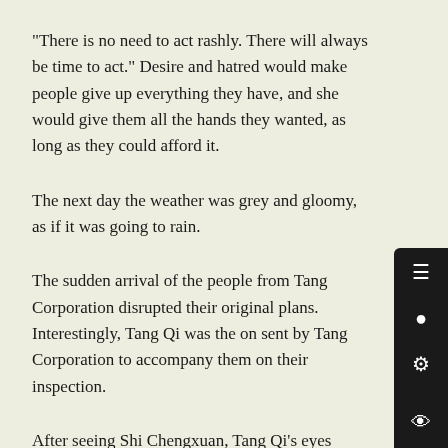"There is no need to act rashly. There will always be time to act." Desire and hatred would make people give up everything they have, and she would give them all the hands they wanted, as long as they could afford it.
The next day the weather was grey and gloomy, as if it was going to rain.
The sudden arrival of the people from Tang Corporation disrupted their original plans. Interestingly, Tang Qi was the one sent by Tang Corporation to accompany them on their inspection.
After seeing Shi Chengxuan, Tang Qi's eyes didn't fall on other places, and she didn't even have the energy to sneer at Tang Susu.